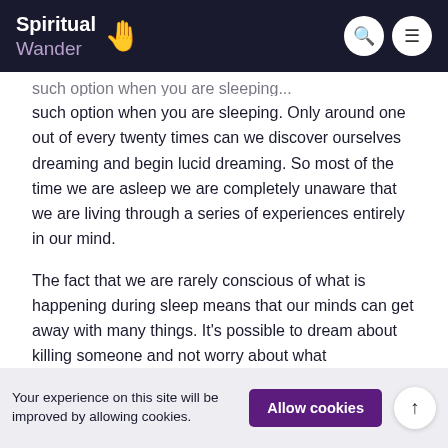Spiritual Wander
such option when you are sleeping. Only around one out of every twenty times can we discover ourselves dreaming and begin lucid dreaming. So most of the time we are asleep we are completely unaware that we are living through a series of experiences entirely in our mind.

The fact that we are rarely conscious of what is happening during sleep means that our minds can get away with many things. It's possible to dream about killing someone and not worry about what
Your experience on this site will be improved by allowing cookies.